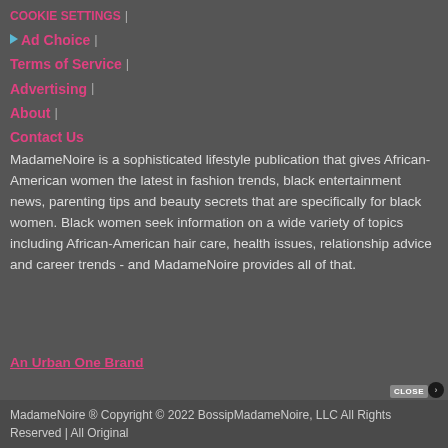COOKIE SETTINGS |
▷ Ad Choice |
Terms of Service |
Advertising |
About |
Contact Us
MadameNoire is a sophisticated lifestyle publication that gives African-American women the latest in fashion trends, black entertainment news, parenting tips and beauty secrets that are specifically for black women. Black women seek information on a wide variety of topics including African-American hair care, health issues, relationship advice and career trends - and MadameNoire provides all of that.
An Urban One Brand
MadameNoire ® Copyright © 2022 BossipMadameNoire, LLC All Rights Reserved | All Original